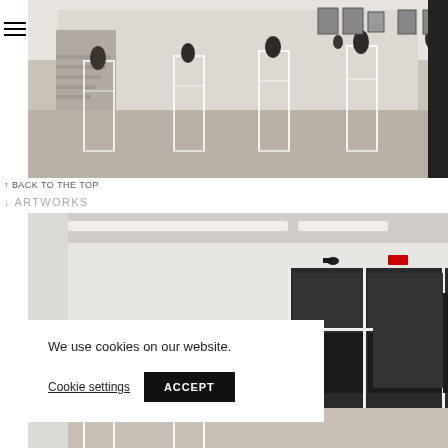[Figure (photo): Interior gallery space with white pedestals displaying small dark sculptures, concrete floor, white walls with framed artworks, stairs in background.]
↑ BACK TO THE TOP
↓ ARTWORKS
[Figure (photo): Gallery interior with white walls, fluorescent ceiling lights, framed artworks hung low on walls, dark storefront windows/doors visible at rear, white pedestals.]
We use cookies on our website.
Cookie settings
ACCEPT